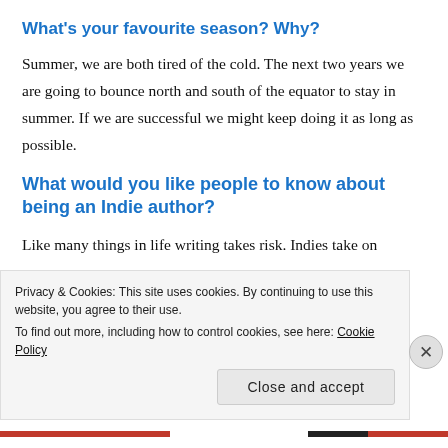What’s your favourite season? Why?
Summer, we are both tired of the cold. The next two years we are going to bounce north and south of the equator to stay in summer. If we are successful we might keep doing it as long as possible.
What would you like people to know about being an Indie author?
Like many things in life writing takes risk. Indies take on
Privacy & Cookies: This site uses cookies. By continuing to use this website, you agree to their use.
To find out more, including how to control cookies, see here: Cookie Policy
Close and accept